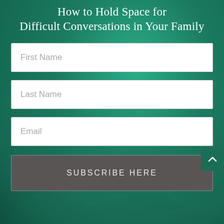How to Hold Space for Difficult Conversations in Your Family
First Name
Last Name
Email
SUBSCRIBE HERE